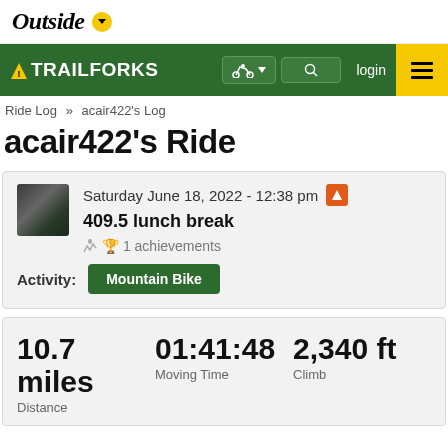Outside ▼
⚠ TRAILFORKS  🚵 ▼  🔍  login  ≡
Ride Log » acair422's Log
acair422's Ride
Saturday June 18, 2022 - 12:38 pm
409.5 lunch break
🏆 1 achievements
Activity: Mountain Bike
10.7 miles  01:41:48  2,340 ft
Distance  Moving Time  Climb